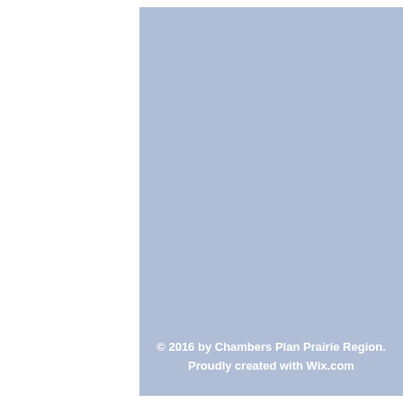© 2016 by Chambers Plan Prairie Region. Proudly created with Wix.com